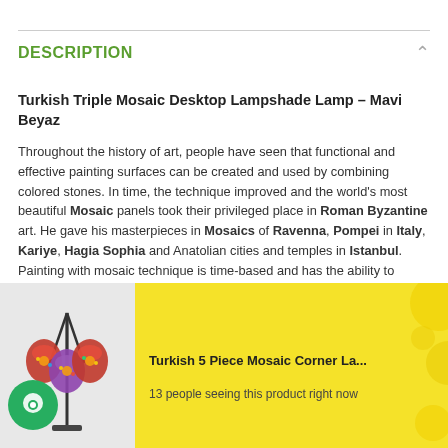DESCRIPTION
Turkish Triple Mosaic Desktop Lampshade Lamp – Mavi Beyaz
Throughout the history of art, people have seen that functional and effective painting surfaces can be created and used by combining colored stones. In time, the technique improved and the world's most beautiful Mosaic panels took their privileged place in Roman Byzantine art. He gave his masterpieces in Mosaics of Ravenna, Pompei in Italy, Kariye, Hagia Sophia and Anatolian cities and temples in Istanbul. Painting with mosaic technique is time-based and has the ability to exceed time. When used inside and outside of architecture, it reaches a sense of immortality. Just like the Mosaics … However, mosaic art developed in Anatolia and its history goes
[Figure (other): Popup banner showing a Turkish 5 Piece Mosaic Corner Lamp with yellow background and text '13 people seeing this product right now']